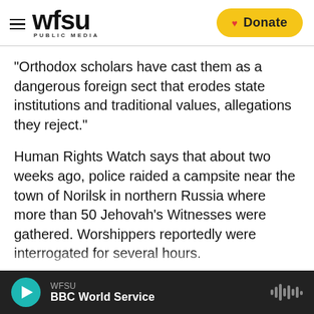WFSU PUBLIC MEDIA
"Orthodox scholars have cast them as a dangerous foreign sect that erodes state institutions and traditional values, allegations they reject."
Human Rights Watch says that about two weeks ago, police raided a campsite near the town of Norilsk in northern Russia where more than 50 Jehovah's Witnesses were gathered. Worshippers reportedly were interrogated for several hours.
"Members of the Jehovah's Witness community who are close to those who were at the campsite
WFSU | BBC World Service